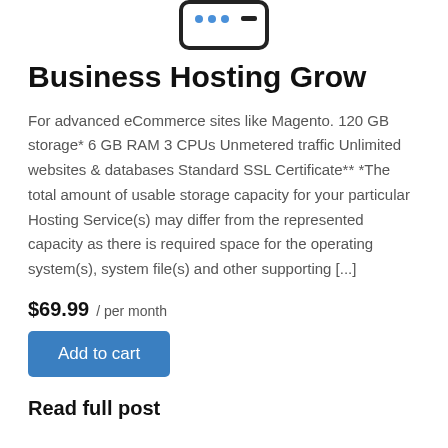[Figure (illustration): Icon of a browser/device window with three dots and a minus button]
Business Hosting Grow
For advanced eCommerce sites like Magento. 120 GB storage* 6 GB RAM 3 CPUs Unmetered traffic Unlimited websites & databases Standard SSL Certificate** *The total amount of usable storage capacity for your particular Hosting Service(s) may differ from the represented capacity as there is required space for the operating system(s), system file(s) and other supporting [...]
$69.99  / per month
Add to cart
Read full post